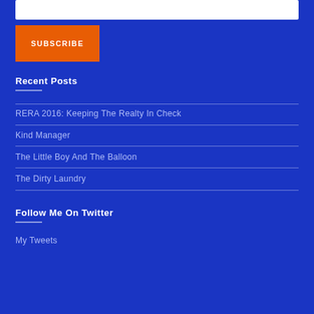[Figure (other): Email input text field at top of page]
SUBSCRIBE
Recent Posts
RERA 2016: Keeping The Realty In Check
Kind Manager
The Little Boy And The Balloon
The Dirty Laundry
Follow Me On Twitter
My Tweets